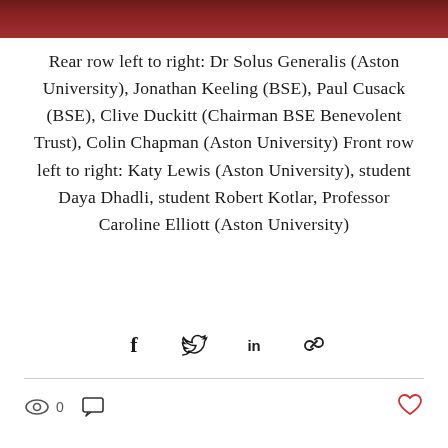[Figure (photo): Partial view of a group photo with dark reddish-brown background visible at top]
Rear row left to right: Dr Solus Generalis (Aston University), Jonathan Keeling (BSE), Paul Cusack (BSE), Clive Duckitt (Chairman BSE Benevolent Trust), Colin Chapman (Aston University) Front row left to right: Katy Lewis (Aston University), student Daya Dhadli, student Robert Kotlar, Professor Caroline Elliott (Aston University)